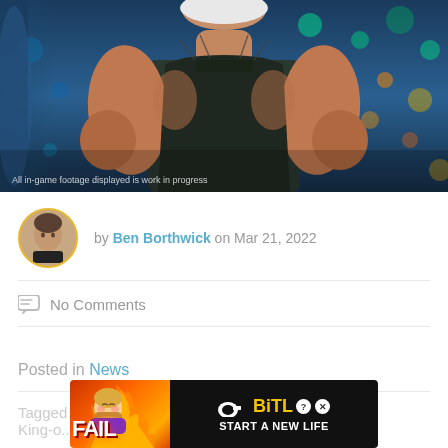[Figure (screenshot): Cropped game screenshot of a large muscular character with silver/white hair wearing a dark sleeveless top with fishnet detail, posed in front of a colorful bokeh-lit stage background. Watermark reads 'All in-game footage displayed is work in progress'.]
by Ben Borthwick on Mar 21, 2022
No Comments
Posted in News
Tagged The-King-o...
[Figure (screenshot): BitLife advertisement banner with FAIL text and cartoon character on orange/red background, with BitLife logo and 'START A NEW LIFE' text on black background.]